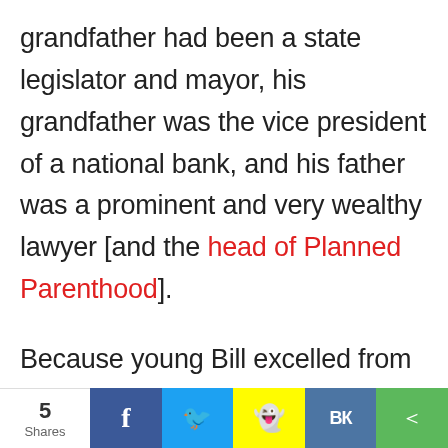grandfather had been a state legislator and mayor, his grandfather was the vice president of a national bank, and his father was a prominent and very wealthy lawyer [and the head of Planned Parenthood].
Because young Bill excelled from his earliest school days, especially in science and math, his parents saw that
5 Shares | Facebook | Twitter | Snapchat | VK | Share